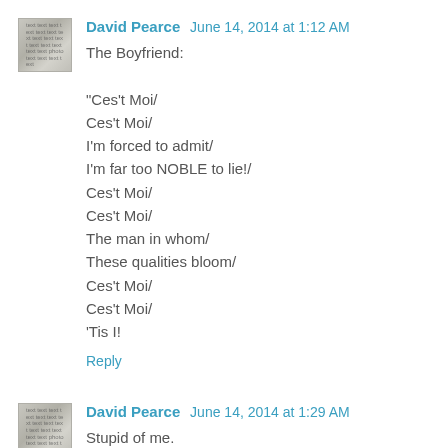David Pearce  June 14, 2014 at 1:12 AM
The Boyfriend:

"Ces't Moi/
Ces't Moi/
I'm forced to admit/
I'm far too NOBLE to lie!/
Ces't Moi/
Ces't Moi/
The man in whom/
These qualities bloom/
Ces't Moi/
Ces't Moi/
'Tis I!
Reply
David Pearce  June 14, 2014 at 1:29 AM
Stupid of me.